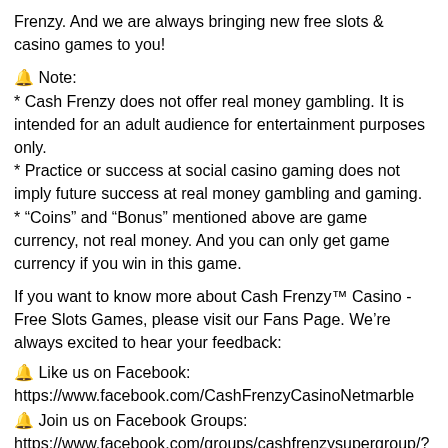Frenzy. And we are always bringing new free slots & casino games to you!
🔔 Note:
* Cash Frenzy does not offer real money gambling. It is intended for an adult audience for entertainment purposes only.
* Practice or success at social casino gaming does not imply future success at real money gambling and gaming.
* "Coins" and "Bonus" mentioned above are game currency, not real money. And you can only get game currency if you win in this game.
If you want to know more about Cash Frenzy™ Casino - Free Slots Games, please visit our Fans Page. We're always excited to hear your feedback:
🔔 Like us on Facebook:
https://www.facebook.com/CashFrenzyCasinoNetmarble
🔔 Join us on Facebook Groups:
https://www.facebook.com/groups/cashfrenzysupergroup/?source_id=321286471735579
🔔 Follow us on Twitter: https://twitter.com/cash_frenzy